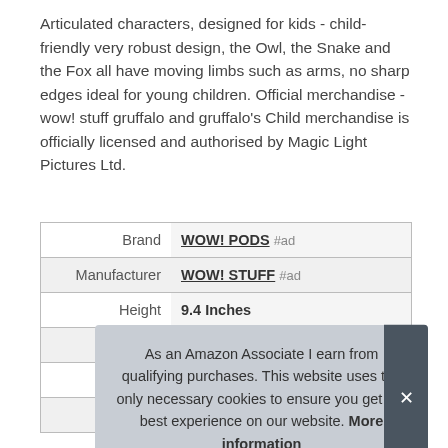Articulated characters, designed for kids - child-friendly very robust design, the Owl, the Snake and the Fox all have moving limbs such as arms, no sharp edges ideal for young children. Official merchandise - wow! stuff gruffalo and gruffalo's Child merchandise is officially licensed and authorised by Magic Light Pictures Ltd.
|  |  |
| --- | --- |
| Brand | WOW! PODS #ad |
| Manufacturer | WOW! STUFF #ad |
| Height | 9.4 Inches |
| Length | 3.1 Inches |
| P |  |
| Model | The Gruffalo Story Time |
As an Amazon Associate I earn from qualifying purchases. This website uses the only necessary cookies to ensure you get the best experience on our website. More information